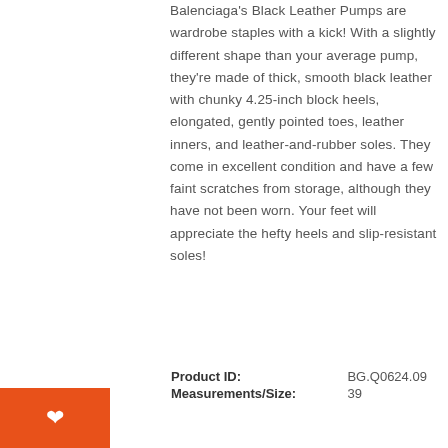Balenciaga's Black Leather Pumps are wardrobe staples with a kick! With a slightly different shape than your average pump, they're made of thick, smooth black leather with chunky 4.25-inch block heels, elongated, gently pointed toes, leather inners, and leather-and-rubber soles. They come in excellent condition and have a few faint scratches from storage, although they have not been worn. Your feet will appreciate the hefty heels and slip-resistant soles!
| Field | Value |
| --- | --- |
| Product ID: | BG.Q0624.09 |
| Measurements/Size: | 39 |